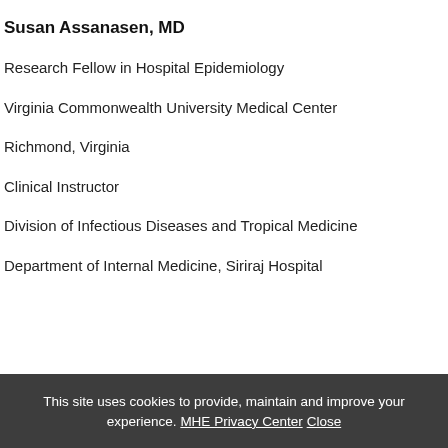Susan Assanasen, MD
Research Fellow in Hospital Epidemiology
Virginia Commonwealth University Medical Center
Richmond, Virginia
Clinical Instructor
Division of Infectious Diseases and Tropical Medicine
Department of Internal Medicine, Siriraj Hospital
This site uses cookies to provide, maintain and improve your experience. MHE Privacy Center Close